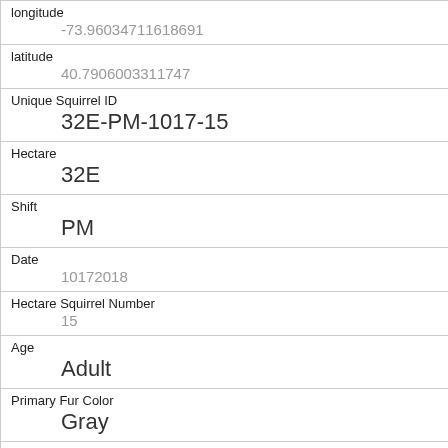| Field | Value |
| --- | --- |
| longitude | -73.96034711618691 |
| latitude | 40.7906003311747 |
| Unique Squirrel ID | 32E-PM-1017-15 |
| Hectare | 32E |
| Shift | PM |
| Date | 10172018 |
| Hectare Squirrel Number | 15 |
| Age | Adult |
| Primary Fur Color | Gray |
| Highlight Fur Color |  |
| Combination of Primary and Highlight Color |  |